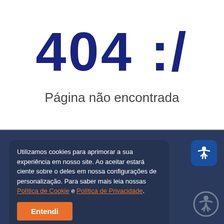404 :/
Página não encontrada
Utilizamos cookies para aprimorar a sua experiência em nosso site. Ao aceitar estará ciente sobre o deles em nossa configurações de personalização. Para saber mais leia nossas Política de Cookie e Política de Privacidade.
Entendi